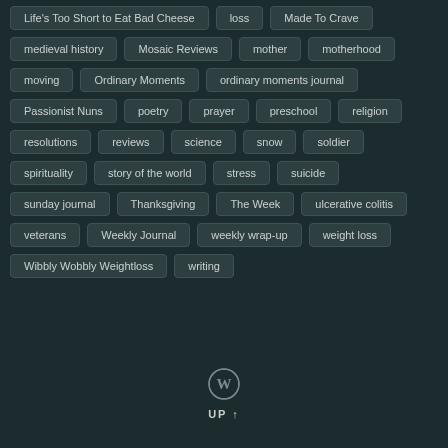Life's Too Short to Eat Bad Cheese
loss
Made To Crave
medieval history
Mosaic Reviews
mother
motherhood
moving
Ordinary Moments
ordinary moments journal
Passionist Nuns
poetry
prayer
preschool
religion
resolutions
reviews
science
snow
soldier
spirituality
story of the world
stress
suicide
sunday journal
Thanksgiving
The Week
ulcerative colitis
veterans
Weekly Journal
weekly wrap-up
weight loss
Wibbly Wobbly Weightloss
writing
[Figure (logo): WordPress logo circle W mark]
UP ↑